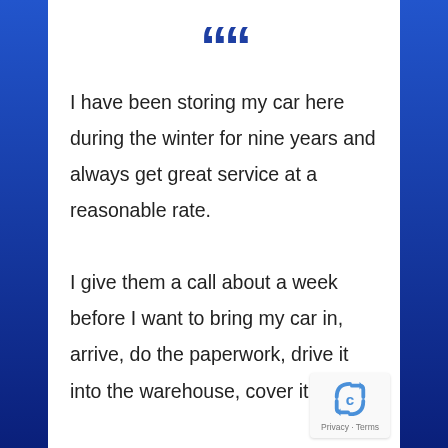““
I have been storing my car here during the winter for nine years and always get great service at a reasonable rate.

I give them a call about a week before I want to bring my car in, arrive, do the paperwork, drive it into the warehouse, cover it up and
[Figure (logo): reCAPTCHA badge with recycling arrow icon and Privacy - Terms text]